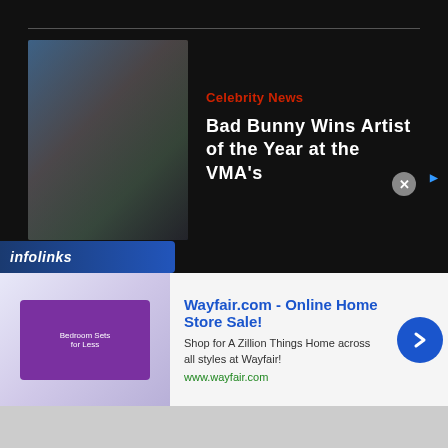[Figure (photo): Photo of a person photographing, used as article thumbnail for Celebrity News story about Bad Bunny]
Celebrity News
Bad Bunny Wins Artist of the Year at the VMA's
Athletics
PGA Tiger Woods, Rory McIlroy Set To Launch A New Venture
[Figure (screenshot): Infolinks advertisement banner for Wayfair.com - Online Home Store Sale!]
Wayfair.com - Online Home Store Sale!
Shop for A Zillion Things Home across all styles at Wayfair!
www.wayfair.com